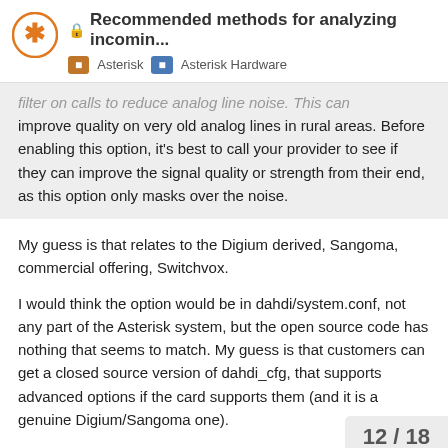Recommended methods for analyzing incomin... | Asterisk | Asterisk Hardware
filter on calls to reduce analog line noise. This can improve quality on very old analog lines in rural areas. Before enabling this option, it's best to call your provider to see if they can improve the signal quality or strength from their end, as this option only masks over the noise.
My guess is that relates to the Digium derived, Sangoma, commercial offering, Switchvox.
I would think the option would be in dahdi/system.conf, not any part of the Asterisk system, but the open source code has nothing that seems to match. My guess is that customers can get a closed source version of dahdi_cfg, that supports advanced options if the card supports them (and it is a genuine Digium/Sangoma one).
Historically even DAHDI support wasn't provided on this forum, with enquirers being redirected to the vendor. That was intended to put vendors with good sup advantage, with the assumption that clone
12 / 18